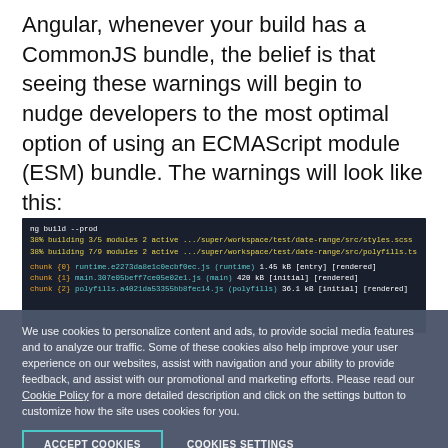Angular, whenever your build has a CommonJS bundle, the belief is that seeing these warnings will begin to nudge developers to the most optimal option of using an ECMAScript module (ESM) bundle. The warnings will look like this:
[Figure (screenshot): Terminal screenshot showing Angular build output with ng build --prod command, displaying module bundling progress and chunk information with colored text on dark background]
We use cookies to personalize content and ads, to provide social media features and to analyze our traffic. Some of these cookies also help improve your user experience on our websites, assist with navigation and your ability to provide feedback, and assist with our promotional and marketing efforts. Please read our Cookie Policy for a more detailed description and click on the settings button to customize how the site uses cookies for you.
ACCEPT COOKIES
COOKIES SETTINGS